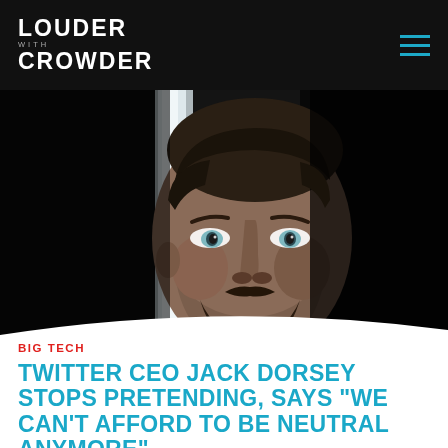LOUDER with CROWDER
[Figure (photo): Close-up portrait of Jack Dorsey (Twitter CEO) looking upward, dramatic dark background with a bright light strip behind him. He has a beard and short dark hair.]
BIG TECH
TWITTER CEO JACK DORSEY STOPS PRETENDING, SAYS "WE CAN'T AFFORD TO BE NEUTRAL ANYMORE"